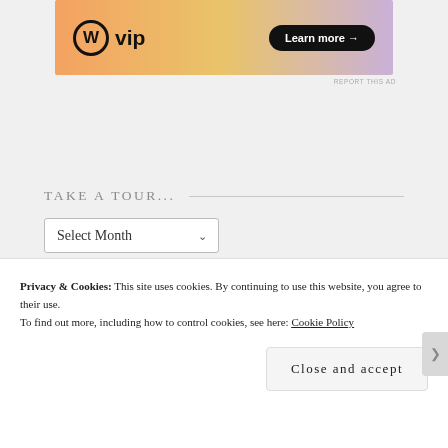[Figure (screenshot): WordPress VIP advertisement banner with orange/pink gradient background, WordPress logo, 'vip' text, and 'Learn more →' button]
REPORT THIS AD
TAKE A TOUR...
Select Month (dropdown)
MEMOIRS / NOSTALGIA
Privacy & Cookies: This site uses cookies. By continuing to use this website, you agree to their use.
To find out more, including how to control cookies, see here: Cookie Policy
Close and accept